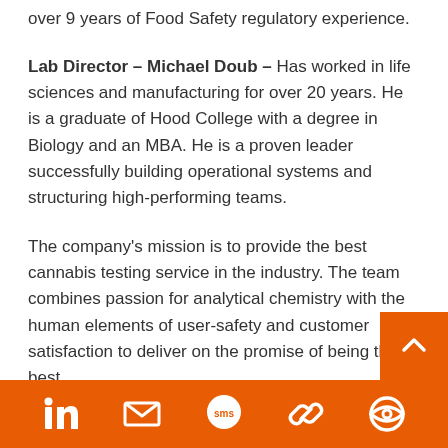over 9 years of Food Safety regulatory experience.
Lab Director – Michael Doub – Has worked in life sciences and manufacturing for over 20 years. He is a graduate of Hood College with a degree in Biology and an MBA. He is a proven leader successfully building operational systems and structuring high-performing teams.
The company's mission is to provide the best cannabis testing service in the industry. The team combines passion for analytical chemistry with the human elements of user-safety and customer satisfaction to deliver on the promise of being the best.
LinkedIn, Email, SMS, Link, Account icons